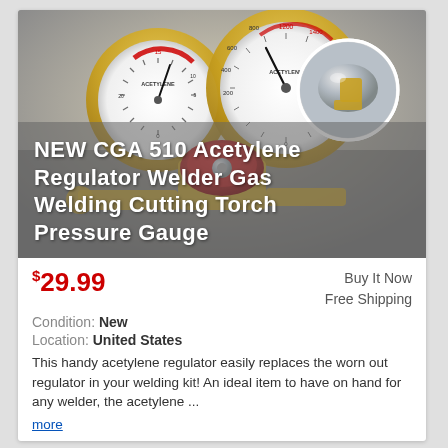[Figure (photo): A CGA 510 acetylene regulator with two pressure gauges (gold/brass housing, red dial markings, white faces), a red central knob, and brass fittings. A circular inset shows a close-up of a chrome fitting.]
NEW CGA 510 Acetylene Regulator Welder Gas Welding Cutting Torch Pressure Gauge
$29.99
Buy It Now
Free Shipping
Condition: New
Location: United States
This handy acetylene regulator easily replaces the worn out regulator in your welding kit! An ideal item to have on hand for any welder, the acetylene ...
more